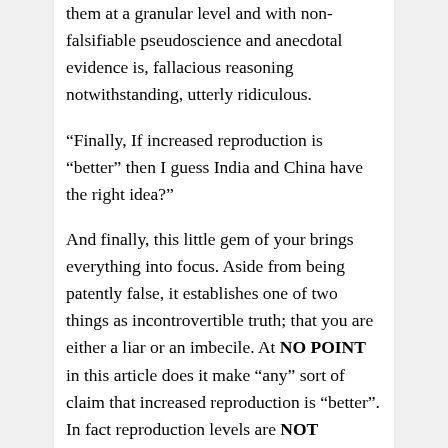them at a granular level and with non-falsifiable pseudoscience and anecdotal evidence is, fallacious reasoning notwithstanding, utterly ridiculous.
“Finally, If increased reproduction is “better” then I guess India and China have the right idea?”
And finally, this little gem of your brings everything into focus. Aside from being patently false, it establishes one of two things as incontrovertible truth; that you are either a liar or an imbecile. At NO POINT in this article does it make “any” sort of claim that increased reproduction is “better”. In fact reproduction levels are NOT ADDRESSED ANYWHERE in this